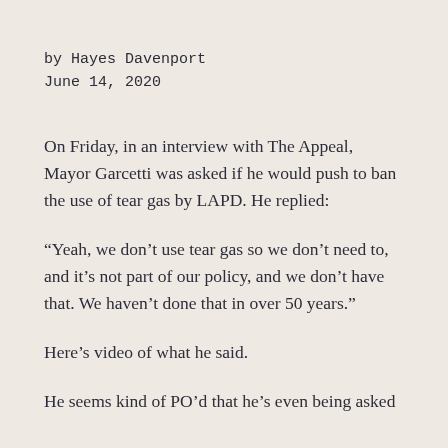by Hayes Davenport
June 14, 2020
On Friday, in an interview with The Appeal, Mayor Garcetti was asked if he would push to ban the use of tear gas by LAPD. He replied:
“Yeah, we don’t use tear gas so we don’t need to, and it’s not part of our policy, and we don’t have that. We haven’t done that in over 50 years.”
Here’s video of what he said.
He seems kind of PO’d that he’s even being asked